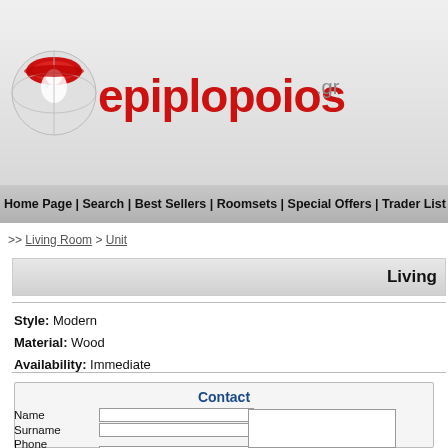[Figure (logo): Epiplopoios.gr logo with red globe/figure icon and stylized text]
Home Page | Search | Best Sellers | Roomsets | Special Offers | Trader List
>> Living Room > Unit
Living
Style: Modern
Material: Wood
Availability: Immediate
Contact
Name
Surname
Phone number